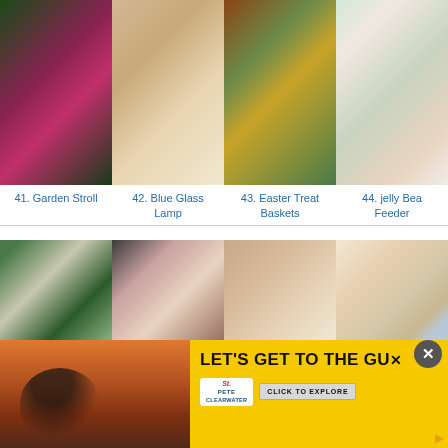[Figure (photo): Grid of 4 photos: pink flower/azalea, bedroom with blue glass lamp, Easter treat baskets, jelly bean feeder jar]
41. Garden Stroll
42. Blue Glass Lamp
43. Easter Treat Baskets
44. jelly Bean Feeder
[Figure (photo): Grid of 4 photos: tree/house exterior, tulips in vase on fireplace, chicken wire, chocolate birds nest cookies with Easter eggs]
[Figure (photo): Advertisement banner - St. Pete Clearwater tourism ad with woman in pool, yellow background, text LET'S GET TO THE GU... with CLICK TO EXPLORE button]